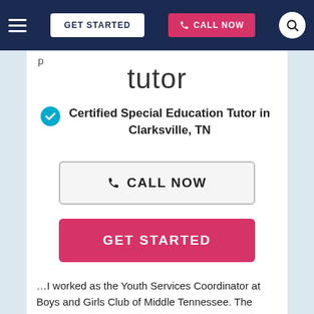GET STARTED  CALL NOW
tutor
Certified Special Education Tutor in Clarksville, TN
CALL NOW
GET STARTED
…I worked as the Youth Services Coordinator at Boys and Girls Club of Middle Tennessee. The Boys and Girls Club was a unique non-profit organization which provided a safe place for underserved